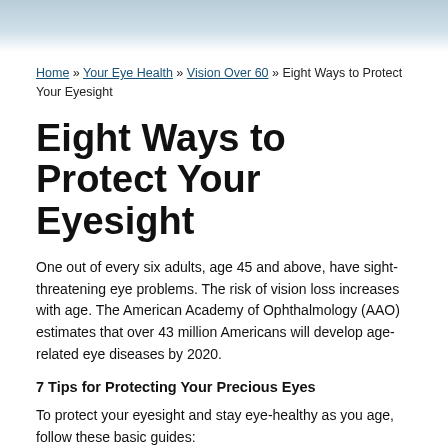[Figure (photo): Light blue gradient header banner at top of page]
Home » Your Eye Health » Vision Over 60 » Eight Ways to Protect Your Eyesight
Eight Ways to Protect Your Eyesight
One out of every six adults, age 45 and above, have sight-threatening eye problems. The risk of vision loss increases with age. The American Academy of Ophthalmology (AAO) estimates that over 43 million Americans will develop age-related eye diseases by 2020.
7 Tips for Protecting Your Precious Eyes
To protect your eyesight and stay eye-healthy as you age, follow these basic guides:
1. Protection from UV rays. Always wear sunglasses with